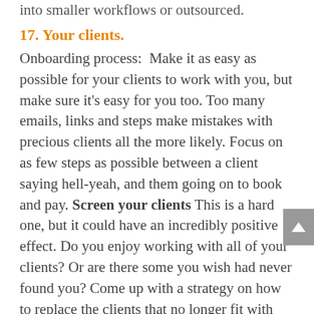into smaller workflows or outsourced.
17.  Your clients.
Onboarding process:  Make it as easy as possible for your clients to work with you, but make sure it's easy for you too. Too many emails, links and steps make mistakes with precious clients all the more likely. Focus on as few steps as possible between a client saying hell-yeah, and them going on to book and pay. Screen your clients This is a hard one, but it could have an incredibly positive effect. Do you enjoy working with all of your clients? Or are there some you wish had never found you? Come up with a strategy on how to replace the clients that no longer fit with you or your brand. It may sound awful, but it is actually in your and their best interest. If you don't enjoy working with these clients, chances are you will not do your best, may fall behind deadlines or make mistakes. Unhappy clients are not great for your reputation. So, find a